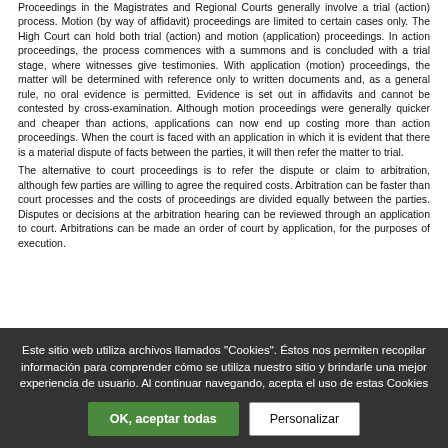Proceedings in the Magistrates and Regional Courts generally involve a trial (action) process. Motion (by way of affidavit) proceedings are limited to certain cases only. The High Court can hold both trial (action) and motion (application) proceedings. In action proceedings, the process commences with a summons and is concluded with a trial stage, where witnesses give testimonies. With application (motion) proceedings, the matter will be determined with reference only to written documents and, as a general rule, no oral evidence is permitted. Evidence is set out in affidavits and cannot be contested by cross-examination. Although motion proceedings were generally quicker and cheaper than actions, applications can now end up costing more than action proceedings. When the court is faced with an application in which it is evident that there is a material dispute of facts between the parties, it will then refer the matter to trial.
The alternative to court proceedings is to refer the dispute or claim to arbitration, although few parties are willing to agree the required costs. Arbitration can be faster than court processes and the costs of proceedings are divided equally between the parties. Disputes or decisions at the arbitration hearing can be reviewed through an application to court. Arbitrations can be made an order of court by application, for the purposes of execution.
Este sitio web utiliza archivos llamados "Cookies". Éstos nos permiten recopilar información para comprender cómo se utiliza nuestro sitio y brindarle una mejor experiencia de usuario. Al continuar navegando, acepta el uso de estas Cookies